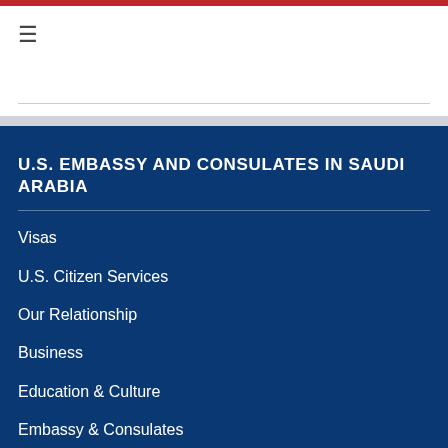≡
U.S. EMBASSY AND CONSULATES IN SAUDI ARABIA
Visas
U.S. Citizen Services
Our Relationship
Business
Education & Culture
Embassy & Consulates
News & Events